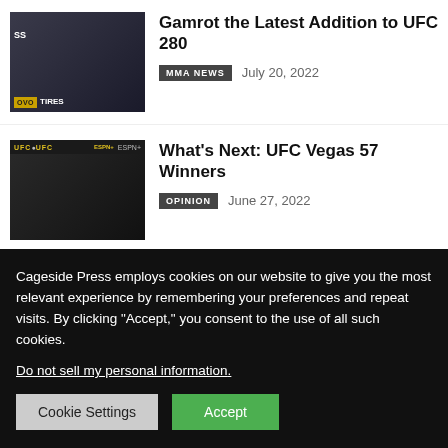[Figure (photo): MMA fighter at press conference with sponsor logos in background]
Gamrot the Latest Addition to UFC 280
MMA NEWS   July 20, 2022
[Figure (photo): MMA fighter holding microphone at UFC/ESPN media event]
What’s Next: UFC Vegas 57 Winners
OPINION   June 27, 2022
FROM THE WEB   POWERED BY ZERGNET
Cageside Press employs cookies on our website to give you the most relevant experience by remembering your preferences and repeat visits. By clicking “Accept,” you consent to the use of all such cookies.
Do not sell my personal information.